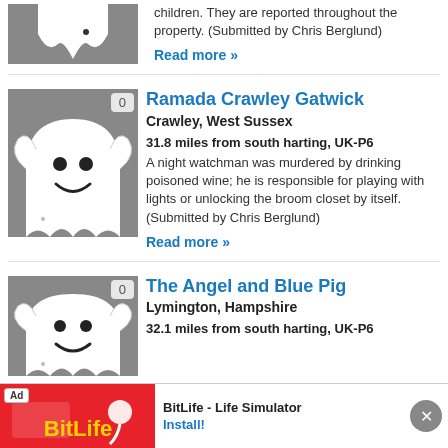[Figure (illustration): Ghost illustration on grey background, partial top crop]
A fire in the 19th century took the lives of two children. They are reported throughout the property. (Submitted by Chris Berglund)
Read more »
[Figure (illustration): Friendly cartoon ghost on grey background with badge showing 0]
Ramada Crawley Gatwick
Crawley, West Sussex
31.8 miles from south harting, UK-P6
A night watchman was murdered by drinking poisoned wine; he is responsible for playing with lights or unlocking the broom closet by itself. (Submitted by Chris Berglund)
Read more »
[Figure (illustration): Friendly cartoon ghost on grey background with badge showing 0]
The Angel and Blue Pig
Lymington, Hampshire
32.1 miles from south harting, UK-P6
[Figure (screenshot): Advertisement bar for BitLife - Life Simulator with red background and install button]